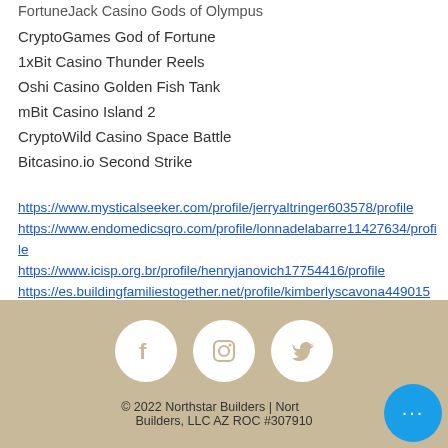FortuneJack Casino Gods of Olympus
CryptoGames God of Fortune
1xBit Casino Thunder Reels
Oshi Casino Golden Fish Tank
mBit Casino Island 2
CryptoWild Casino Space Battle
Bitcasino.io Second Strike
https://www.mysticalseeker.com/profile/jerryaltringer603578/profile
https://www.endomedicsqro.com/profile/lonnadelabarre11427634/profile
https://www.icisp.org.br/profile/henryjanovich17754416/profile
https://es.buildingfamiliestogether.net/profile/kimberlyscavona4490150/profile
© 2022 Northstar Builders | Northstar Builders, LLC AZ ROC #307910